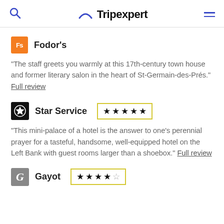Tripexpert
Fodor's
"The staff greets you warmly at this 17th-century town house and former literary salon in the heart of St-Germain-des-Prés." Full review
Star Service ★★★★★
"This mini-palace of a hotel is the answer to one's perennial prayer for a tasteful, handsome, well-equipped hotel on the Left Bank with guest rooms larger than a shoebox." Full review
Gayot ★★★★☆